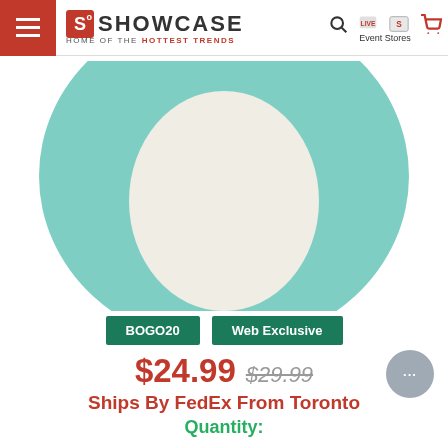Showcase - Home of the Hottest Trends
[Figure (photo): Teal/mint colored round plush squishy toy (Squishmallow) showing the bottom belly area in cream/white, cropped at top]
BOGO20  Web Exclusive
$24.99  $29.99
Ships By FedEx From Toronto
Quantity: